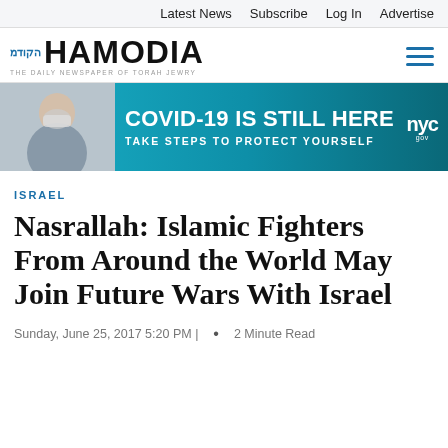Latest News  Subscribe  Log In  Advertise
[Figure (logo): Hamodia newspaper logo with Hebrew text and tagline 'THE DAILY NEWSPAPER OF TORAH JEWRY']
[Figure (photo): Banner advertisement: COVID-19 IS STILL HERE - TAKE STEPS TO PROTECT YOURSELF - NYC logo, showing a person wearing a mask talking on the phone]
ISRAEL
Nasrallah: Islamic Fighters From Around the World May Join Future Wars With Israel
Sunday, June 25, 2017 5:20 PM |  •  2 Minute Read